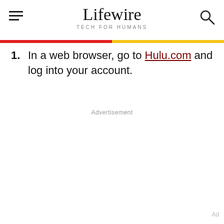Lifewire TECH FOR HUMANS
1. In a web browser, go to Hulu.com and log into your account.
Advertisement
Ad